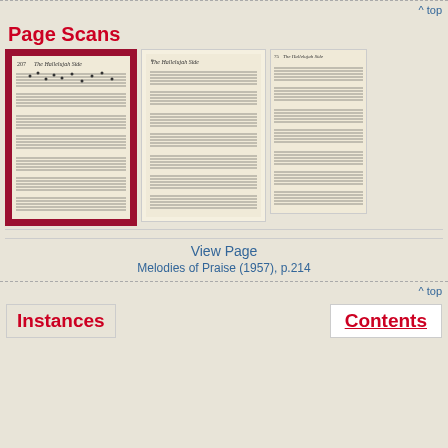^ top
Page Scans
[Figure (photo): Three scanned hymnal pages showing sheet music for 'The Hallelujah Side'. First page has red background highlight showing page 207. Second and third pages show pages 6 and 75 respectively in cream/white borders.]
View Page
Melodies of Praise (1957), p.214
^ top
Instances
Contents